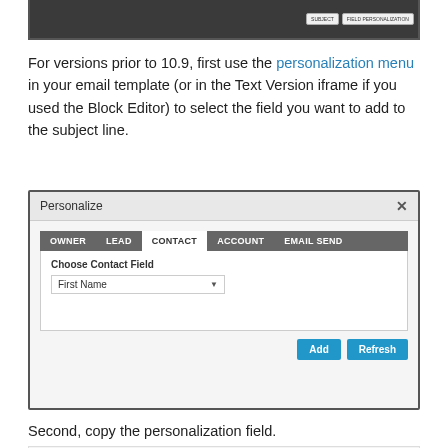[Figure (screenshot): Top portion of a dark UI toolbar showing buttons including 'Field Personalization']
For versions prior to 10.9, first use the personalization menu in your email template (or in the Text Version iframe if you used the Block Editor) to select the field you want to add to the subject line.
[Figure (screenshot): Personalize dialog box with tabs: OWNER, LEAD, CONTACT (active), ACCOUNT, EMAIL SEND. Shows 'Choose Contact Field' dropdown set to 'First Name', and Add/Refresh buttons.]
Second, copy the personalization field.
[Figure (screenshot): Bottom toolbar showing SAVE, INBOX PREVIEW, and CHECK FREEMARKER buttons]